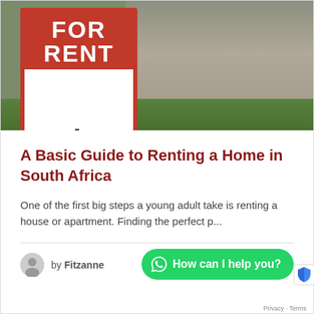[Figure (photo): A 'FOR RENT' real estate sign in front of a house with green lawn and landscaping in the background]
A Basic Guide to Renting a Home in South Africa
One of the first big steps a young adult take is renting a house or apartment. Finding the perfect p...
by Fitzanne
How can I help you?
Privacy · Terms